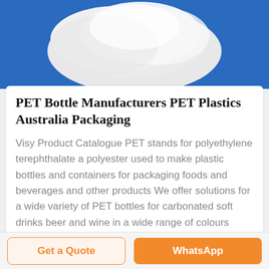[Figure (photo): White powder (likely PET resin/pellets) on a blue background]
PET Bottle Manufacturers PET Plastics Australia Packaging
Visy Product Catalogue PET stands for polyethylene terephthalate a polyester used to make plastic bottles and containers for packaging foods and beverages and other products We offer solutions for a wide variety of PET bottles for carbonated soft drinks beer and wine in a wide range of colours sizes weights and finish types
Get a Quote
WhatsApp